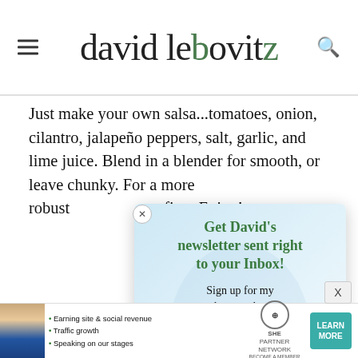david lebovitz
Just make your own salsa...tomatoes, onion, cilantro, jalapeño peppers, salt, garlic, and lime juice. Blend in a blender for smooth, or leave chunky. For a more robust [flavor, char/roast] first. Enjoy!
[Figure (screenshot): Newsletter signup modal popup with close button (x), headline 'Get David's newsletter sent right to your Inbox!', subtext 'Sign up for my newsletter and get my FREE guidebook to the best bakeries and pastry shops in Paris...', and a teal 'Click HERE to subscribe' button]
Bonnie Po[...] ...
Funny to [...] ...side product to [...] ...re in the States wh[...] ...from Paris!
[Figure (screenshot): SHE Partner Network advertisement banner at bottom of page with woman photo, bullet points about earning site & social revenue, traffic growth, speaking on stages, SHE logo, and LEARN MORE button]